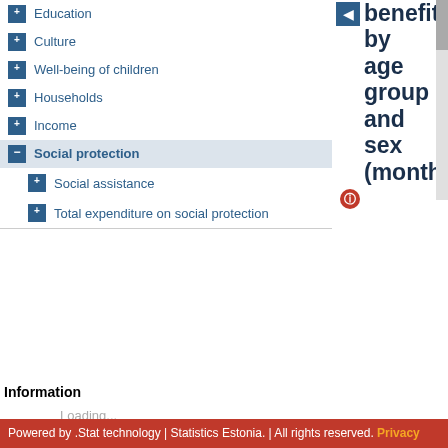Education
Culture
Well-being of children
Households
Income
Social protection
Social assistance
Total expenditure on social protection
Information
Loading...
benefit by age group and sex (month
Powered by .Stat technology | Statistics Estonia. | All rights reserved. Privacy